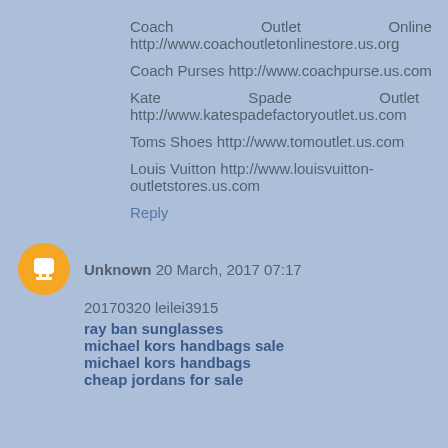Coach Outlet Online http://www.coachoutletonlinestore.us.org
Coach Purses http://www.coachpurse.us.com
Kate Spade Outlet http://www.katespadefactoryoutlet.us.com
Toms Shoes http://www.tomoutlet.us.com
Louis Vuitton http://www.louisvuitton-outletstores.us.com
Reply
Unknown 20 March, 2017 07:17
20170320 leilei3915
ray ban sunglasses
michael kors handbags sale
michael kors handbags
cheap jordans for sale